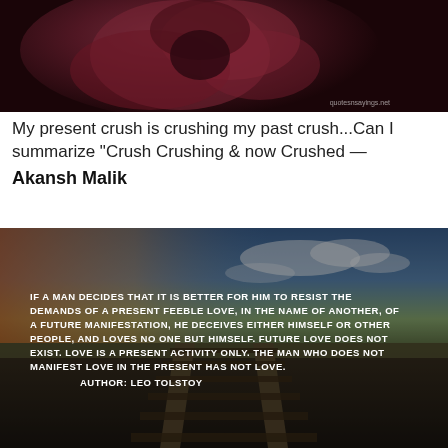[Figure (photo): Dark close-up photo of a rose with website watermark 'quotesnsayings.net' in bottom right corner]
My present crush is crushing my past crush...Can I summarize "Crush Crushing & now Crushed —
Akansh Malik
[Figure (photo): Photo of railway tracks extending into the distance under a dramatic sky with overlaid quote: IF A MAN DECIDES THAT IT IS BETTER FOR HIM TO RESIST THE DEMANDS OF A PRESENT FEEBLE LOVE, IN THE NAME OF ANOTHER, OF A FUTURE MANIFESTATION, HE DECEIVES EITHER HIMSELF OR OTHER PEOPLE, AND LOVES NO ONE BUT HIMSELF. FUTURE LOVE DOES NOT EXIST. LOVE IS A PRESENT ACTIVITY ONLY. THE MAN WHO DOES NOT MANIFEST LOVE IN THE PRESENT HAS NOT LOVE. AUTHOR: LEO TOLSTOY]